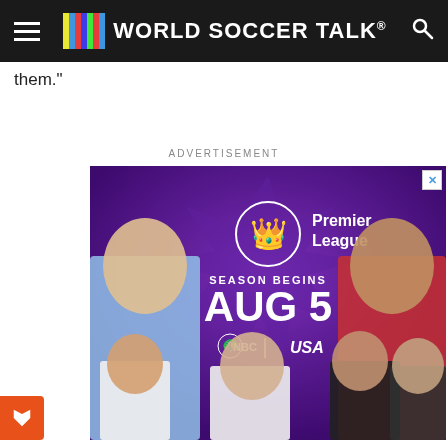World Soccer Talk
them."
ADVERTISEMENT
[Figure (photo): Premier League advertisement featuring soccer players including Kevin De Bruyne and Mohamed Salah. Text reads: Premier League SEASON BEGINS AUG 5, NBC | USA]